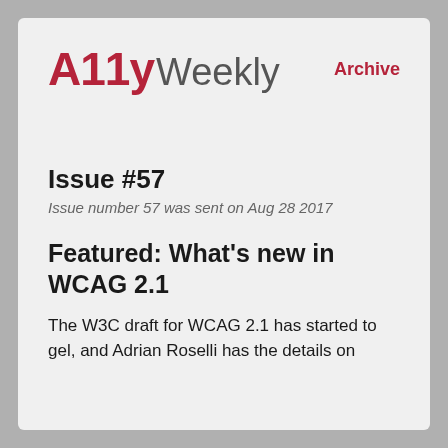A11y Weekly Archive
Issue #57
Issue number 57 was sent on Aug 28 2017
Featured: What’s new in WCAG 2.1
The W3C draft for WCAG 2.1 has started to gel, and Adrian Roselli has the details on